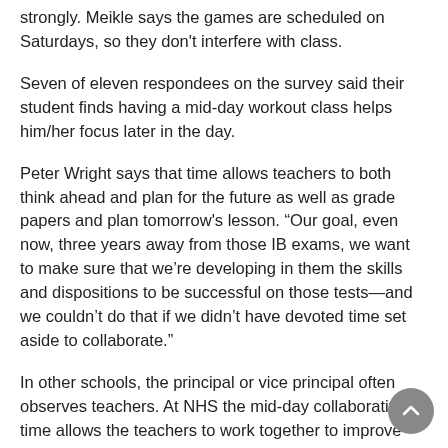strongly. Meikle says the games are scheduled on Saturdays, so they don't interfere with class.
Seven of eleven respondees on the survey said their student finds having a mid-day workout class helps him/her focus later in the day.
Peter Wright says that time allows teachers to both think ahead and plan for the future as well as grade papers and plan tomorrow's lesson. “Our goal, even now, three years away from those IB exams, we want to make sure that we’re developing in them the skills and dispositions to be successful on those tests—and we couldn’t do that if we didn’t have devoted time set aside to collaborate.”
In other schools, the principal or vice principal often observes teachers. At NHS the mid-day collaborative time allows the teachers to work together to improve their skills. Josh Griffin says, “I was very impressed with their model of calling on the teachers to see how they can most effectively develop themselves as professionals. There’s a lot of autonomy and pragmatism in their professional development model.”